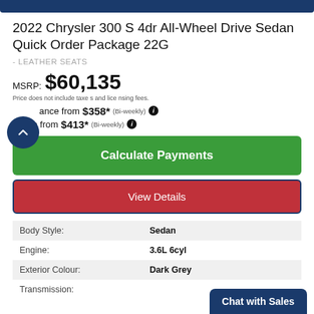2022 Chrysler 300 S 4dr All-Wheel Drive Sedan Quick Order Package 22G
- LEATHER SEATS
MSRP: $60,135
Price does not include taxes and licensing fees.
Finance from $358* (Bi-weekly)
Lease from $413* (Bi-weekly)
Calculate Payments
View Details
|  |  |
| --- | --- |
| Body Style: | Sedan |
| Engine: | 3.6L 6cyl |
| Exterior Colour: | Dark Grey |
| Transmission: |  |
Chat with Sales